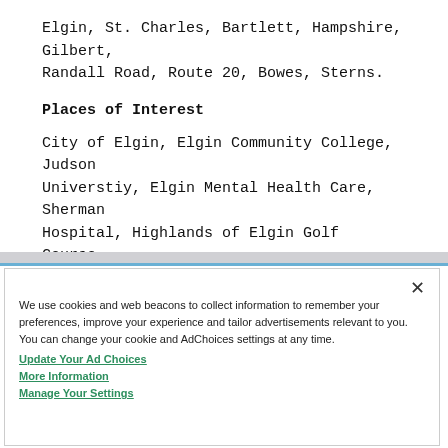Elgin, St. Charles, Bartlett, Hampshire, Gilbert, Randall Road, Route 20, Bowes, Sterns.
Places of Interest
City of Elgin, Elgin Community College, Judson Universtiy, Elgin Mental Health Care, Sherman Hospital, Highlands of Elgin Golf Course.
We use cookies and web beacons to collect information to remember your preferences, improve your experience and tailor advertisements relevant to you. You can change your cookie and AdChoices settings at any time.
Update Your Ad Choices
More Information
Manage Your Settings